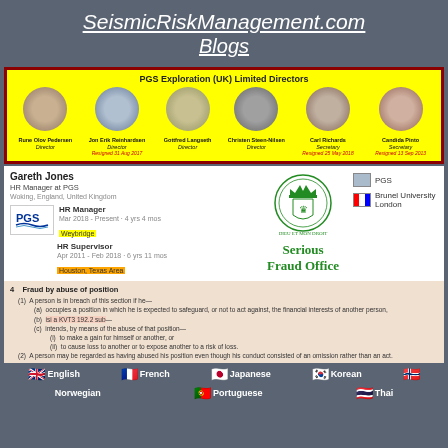SeismicRiskManagement.com Blogs
[Figure (infographic): PGS Exploration (UK) Limited Directors panel showing 6 directors with circular photos: Rune Olov Pedersen (Director), Jon Erik Reinhardsen (Director, Resigned 31 Aug 2017), Gottfred Langseth (Director), Christen Steen-Nilsen (Director), Carl Richards (Secretary, Resigned 25 May 2018), Candida Pinto (Secretary, Resigned 13 Sep 2013). Yellow background with dark red border.]
[Figure (infographic): LinkedIn profile of Gareth Jones, HR Manager at PGS, Woking England United Kingdom. Shows PGS company logo, HR Manager role (Mar 2018 - Present, 4 yrs 4 mos, Weybridge highlighted in yellow), HR Supervisor (Apr 2011 - Feb 2018, 6 yrs 11 mos, Houston Texas Area highlighted in orange). Right side shows UK Serious Fraud Office seal/logo with text 'Serious Fraud Office' in green, plus PGS and Brunel University London logos.]
4   Fraud by abuse of position
(1) A person is in breach of this section if he—
(a) occupies a position in which he is expected to safeguard, or not to act against, the financial interests of another person,
(b) [text partially obscured] 192.2 sub—
(c) intends, by means of the abuse of that position—
(i) to make a gain for himself or another, or
(ii) to cause loss to another or to expose another to a risk of loss.
(2) A person may be regarded as having abused his position even though his conduct consisted of an omission rather than an act.
English   French   Japanese   Korean
Norwegian   Portuguese   Thai